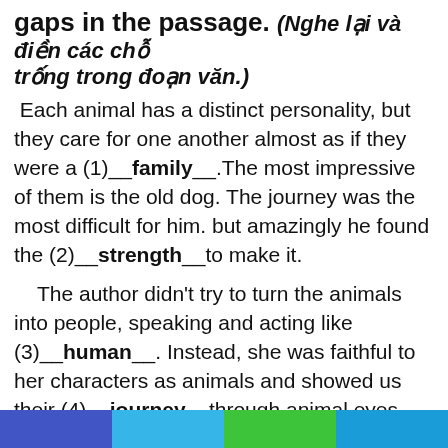gaps in the passage. (Nghe lại và điền các chỗ trống trong đoạn văn.)
Each animal has a distinct personality, but they care for one another almost as if they were a (1)__family__.The most impressive of them is the old dog. The journey was the most difficult for him. but amazingly he found the (2)__strength__to make it.
The author didn't try to turn the animals into people, speaking and acting like (3)__human__. Instead, she was faithful to her characters as animals and showed us their (4)__journey__through animal eyes. That made the book interesting and unbelievable.